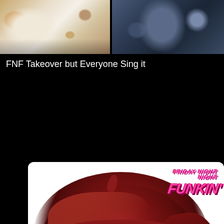[Figure (illustration): Two anime/cartoon character thumbnails side by side — left shows a spotted/cow-patterned character with cream and brown tones, right shows a dark blue armored character]
FNF Takeover but Everyone Sing it
[Figure (illustration): Friday Night Funkin fan art showing a chibi-style girl character with large dark red/maroon hair, pink face with rosy cheeks, wearing a red shirt and holding a blue phone. The Friday Night Funkin logo is visible in the top right corner of the image.]